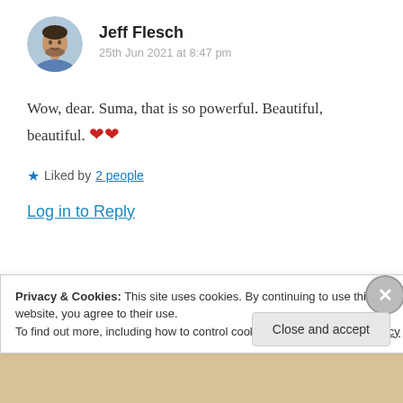[Figure (photo): Circular avatar photo of Jeff Flesch, a man wearing a blue shirt]
Jeff Flesch
25th Jun 2021 at 8:47 pm
Wow, dear. Suma, that is so powerful. Beautiful, beautiful. ❤❤
★ Liked by 2 people
Log in to Reply
Privacy & Cookies: This site uses cookies. By continuing to use this website, you agree to their use.
To find out more, including how to control cookies, see here: Cookie Policy
Close and accept